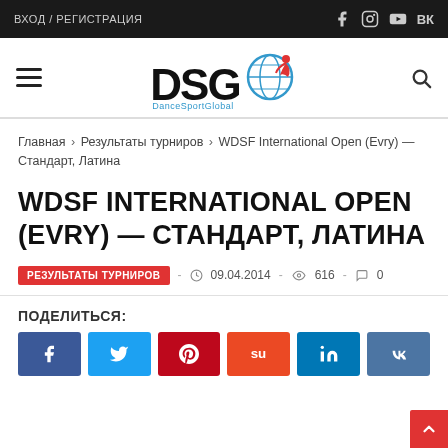ВХОД / РЕГИСТРАЦИЯ
[Figure (logo): DanceSportGlobal (DSG) logo with globe and dancer figure, blue and red accent]
Главная › Результаты турниров › WDSF International Open (Evry) — Стандарт, Латина
WDSF INTERNATIONAL OPEN (EVRY) — СТАНДАРТ, ЛАТИНА
РЕЗУЛЬТАТЫ ТУРНИРОВ - 09.04.2014 - 616 - 0
ПОДЕЛИТЬСЯ:
Share buttons: Facebook, Twitter, Pinterest, StumbleUpon, LinkedIn, VK